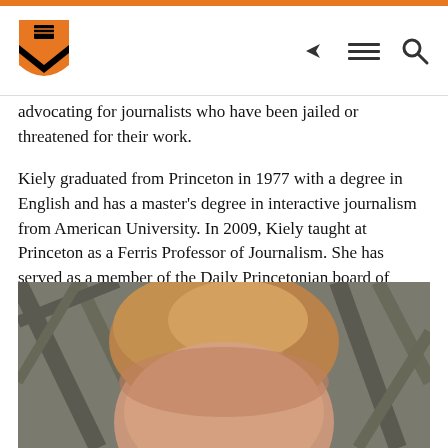Princeton University navigation header with logo, share, menu, and search icons
advocating for journalists who have been jailed or threatened for their work.
Kiely graduated from Princeton in 1977 with a degree in English and has a master's degree in interactive journalism from American University. In 2009, Kiely taught at Princeton as a Ferris Professor of Journalism. She has served as a member of the Daily Princetonian board of trustees for over a decade.
[Figure (photo): Portrait photo of a person with light reddish-brown hair, face partially visible from forehead down, with metal lattice structure in background]